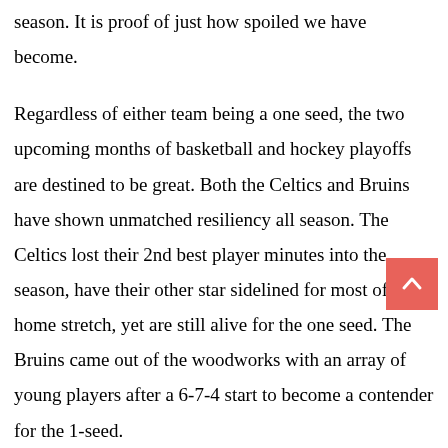season. It is proof of just how spoiled we have become.
Regardless of either team being a one seed, the two upcoming months of basketball and hockey playoffs are destined to be great. Both the Celtics and Bruins have shown unmatched resiliency all season. The Celtics lost their 2nd best player minutes into the season, have their other star sidelined for most of the home stretch, yet are still alive for the one seed. The Bruins came out of the woodworks with an array of young players after a 6-7-4 start to become a contender for the 1-seed.
Both teams have thrilled us with jarring comebacks